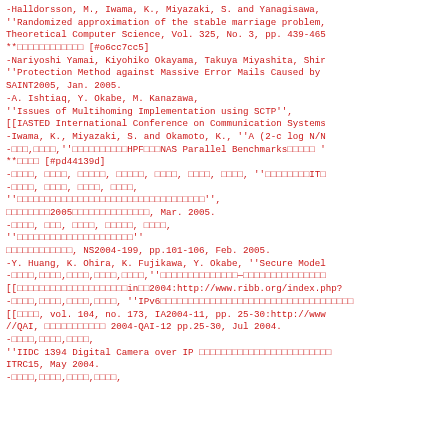-Halldorsson, M., Iwama, K., Miyazaki, S. and Yanagisawa, ''Randomized approximation of the stable marriage problem, Theoretical Computer Science, Vol. 325, No. 3, pp. 439-465 **□□□□□□□□□□□□ [#o6cc7cc5]
-Nariyoshi Yamai, Kiyohiko Okayama, Takuya Miyashita, Shi ''Protection Method against Massive Error Mails Caused by SAINT2005, Jan. 2005.
-A. Ishtiaq, Y. Okabe, M. Kanazawa, ''Issues of Multihoming Implementation using SCTP'', [[IASTED International Conference on Communication Systems
-Iwama, K., Miyazaki, S. and Okamoto, K., ''A (2-c log N/N
-□□□,□□□□,''□□□□□□□□□□HPF□□□NAS Parallel Benchmarks□□□□□ **□□□□ [#pd44139d]
-□□□□, □□□□, □□□□□, □□□□□, □□□□, □□□□, □□□□, ''□□□□□□□□IT□
-□□□□, □□□□, □□□□, □□□□, ''□□□□□□□□□□□□□□□□□□□□□□□□□□□□□□□□□□'', □□□□□□□□2005□□□□□□□□□□□□□□, Mar. 2005.
-□□□□, □□□, □□□□, □□□□□, □□□□, ''□□□□□□□□□□□□□□□□□□□□□'' □□□□□□□□□□□□, NS2004-199, pp.101-106, Feb. 2005.
-Y. Huang, K. Ohira, K. Fujikawa, Y. Okabe, ''Secure Model
-□□□□,□□□□,□□□□,□□□□,□□□□,''□□□□□□□□□□□□□□—□□□□□□□□□□□□□□□ [[□□□□□□□□□□□□□□□□□□□□in□□2004:http://www.ribb.org/index.php?
-□□□□,□□□□,□□□□,□□□□, ''IPv6□□□□□□□□□□□□□□□□□□□□□□□□□□□□□□□□□□□ [[□□□□, vol. 104, no. 173, IA2004-11, pp. 25-30:http://www //QAI, □□□□□□□□□□□ 2004-QAI-12 pp.25-30, Jul 2004.
-□□□□,□□□□,□□□□, ''IIDC 1394 Digital Camera over IP □□□□□□□□□□□□□□□□□□□□□□□□ ITRC15, May 2004.
-□□□□,□□□□,□□□□,□□□□,